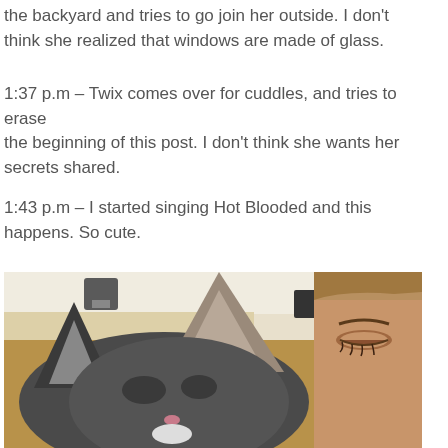the backyard and tries to go join her outside. I don't think she realized that windows are made of glass.
1:37 p.m – Twix comes over for cuddles, and tries to erase the beginning of this post. I don't think she wants her secrets shared.
1:43 p.m – I started singing Hot Blooded and this happens. So cute.
[Figure (photo): Close-up selfie photo of a tabby cat's head and ears in the foreground with a person's face (showing eye and cheek) visible on the right side, taken indoors with a kitchen counter visible in the background.]